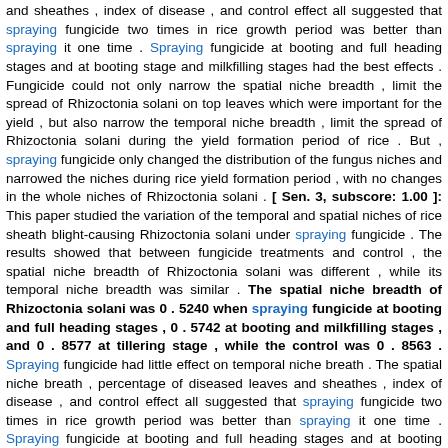and sheathes , index of disease , and control effect all suggested that spraying fungicide two times in rice growth period was better than spraying it one time . Spraying fungicide at booting and full heading stages and at booting stage and milkfilling stages had the best effects . Fungicide could not only narrow the spatial niche breadth , limit the spread of Rhizoctonia solani on top leaves which were important for the yield , but also narrow the temporal niche breadth , limit the spread of Rhizoctonia solani during the yield formation period of rice . But , spraying fungicide only changed the distribution of the fungus niches and narrowed the niches during rice yield formation period , with no changes in the whole niches of Rhizoctonia solani . [ Sen. 3, subscore: 1.00 ]: This paper studied the variation of the temporal and spatial niches of rice sheath blight-causing Rhizoctonia solani under spraying fungicide . The results showed that between fungicide treatments and control , the spatial niche breadth of Rhizoctonia solani was different , while its temporal niche breadth was similar . The spatial niche breadth of Rhizoctonia solani was 0 . 5240 when spraying fungicide at booting and full heading stages , 0 . 5742 at booting and milkfilling stages , and 0 . 8577 at tillering stage , while the control was 0 . 8563 . Spraying fungicide had little effect on temporal niche breath . The spatial niche breath , percentage of diseased leaves and sheathes , index of disease , and control effect all suggested that spraying fungicide two times in rice growth period was better than spraying it one time . Spraying fungicide at booting and full heading stages and at booting stage and milkfilling stages had the best effects . Fungicide could not only narrow the spatial niche breadth , limit the spread of Rhizoctonia solani on top leaves which were important for the yield , but also narrow the temporal niche breadth , limit the spread of Rhizoctonia solani during the yield formation period of rice . But , spraying fungicide only changed the distribution of the fungus niches and narrowed the niches during rice yield formation period , with no changes in the whole niches of Rhizoctonia solani .